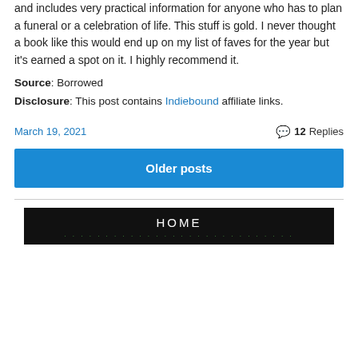and includes very practical information for anyone who has to plan a funeral or a celebration of life. This stuff is gold. I never thought a book like this would end up on my list of faves for the year but it's earned a spot on it. I highly recommend it.
Source: Borrowed
Disclosure: This post contains Indiebound affiliate links.
March 19, 2021    12 Replies
Older posts
[Figure (logo): HOME button with black background and green dotted underline]